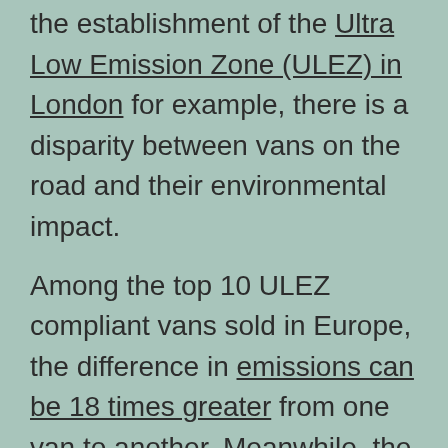the establishment of the Ultra Low Emission Zone (ULEZ) in London for example, there is a disparity between vans on the road and their environmental impact. Among the top 10 ULEZ compliant vans sold in Europe, the difference in emissions can be 18 times greater from one van to another. Meanwhile, the pollution from these vehicles and last mile logistics, the transportation of goods from the fulfilment hub to their final destination, is: “expected to grow 78% between 2019 and 2030” according to the World Health Organisation.